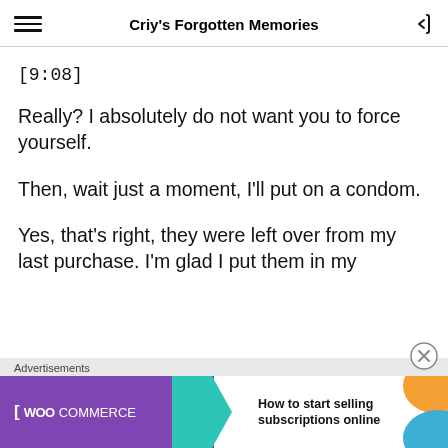Criy's Forgotten Memories
[9:08]
Really? I absolutely do not want you to force yourself.
Then, wait just a moment, I'll put on a condom.
Yes, that's right, they were left over from my last purchase. I'm glad I put them in my
Advertisements
[Figure (screenshot): WooCommerce advertisement banner: purple background with WooCommerce logo and text 'How to start selling subscriptions online', with teal arrow and orange/blue decorative shapes]